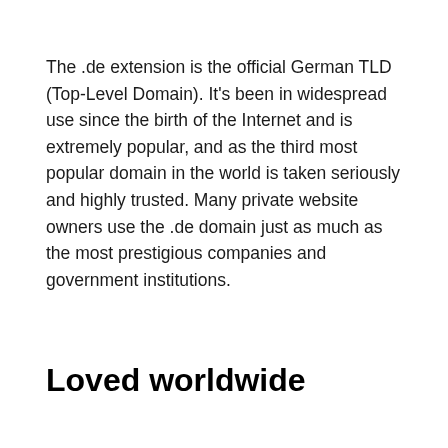The .de extension is the official German TLD (Top-Level Domain). It's been in widespread use since the birth of the Internet and is extremely popular, and as the third most popular domain in the world is taken seriously and highly trusted. Many private website owners use the .de domain just as much as the most prestigious companies and government institutions.
Loved worldwide
If you want to sell successfully in Germany – with its 62.3 million online shoppers – and also beyond its borders,